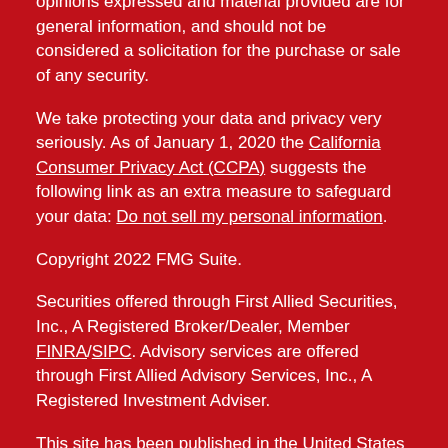opinions expressed and material provided are for general information, and should not be considered a solicitation for the purchase or sale of any security.
We take protecting your data and privacy very seriously. As of January 1, 2020 the California Consumer Privacy Act (CCPA) suggests the following link as an extra measure to safeguard your data: Do not sell my personal information.
Copyright 2022 FMG Suite.
Securities offered through First Allied Securities, Inc., A Registered Broker/Dealer, Member FINRA/SIPC. Advisory services are offered through First Allied Advisory Services, Inc., A Registered Investment Adviser.
This site has been published in the United States for residents of the United States. Persons mentioned in this site may only transact business in states in which they have been properly registered or are exempt from registration.
Important Disclosures | Business Continuity
Individuals affiliated with this broker/dealer firm are either